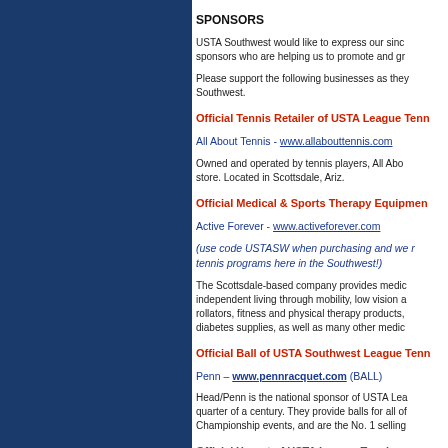SPONSORS
USTA Southwest would like to express our sincere thanks to the following sponsors who are helping us to promote and grow tennis in the Southwest.
Please support the following businesses as they are supporting tennis in the Southwest.
Official Tennis Retailer of USTA League Tennis in the Southwest
All About Tennis - www.allabouttennis.com
Owned and operated by tennis players, All About Tennis is a full service tennis store. Located in Scottsdale, Ariz.
Official Medical & Sports Therapy Equipment Provider of USTA Southwest
Active Forever - www.activeforever.com
(use code USTASW when purchasing and we receive a portion back to fund tennis programs here in the Southwest!)
The Scottsdale-based company provides medical products that promote independent living through mobility, low vision aids, incontinence products, rollators, fitness and physical therapy products, respiratory supplies, diabetes supplies, as well as many other medical aids.
Official Ball of USTA Southwest League Tennis
Penn – www.pennracquet.com (BALL)
Head/Penn is the national sponsor of USTA League Tennis for more than a quarter of a century. They provide balls for all of the National Championship events, and are the No. 1 selling tennis ball in the U.S.
Official Yogurt of USTA League Tennis